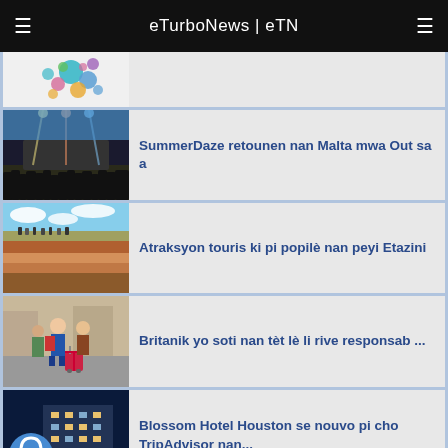eTurboNews | eTN
[Figure (photo): Partial view of a colorful logo/image with circles on white background]
[Figure (photo): Outdoor concert/festival crowd at night with stage lights]
SummerDaze retounen nan Malta mwa Out sa a
[Figure (photo): Grand Canyon scenic overlook with tourists]
Atraksyon touris ki pi popilè nan peyi Etazini
[Figure (photo): Group of tourists with luggage on a city street]
Britanik yo soti nan tèt lè li rive responsab ...
[Figure (photo): Blossom Hotel Houston building at night with headphone icon overlay]
Blossom Hotel Houston se nouvo pi cho TripAdvisor nan...